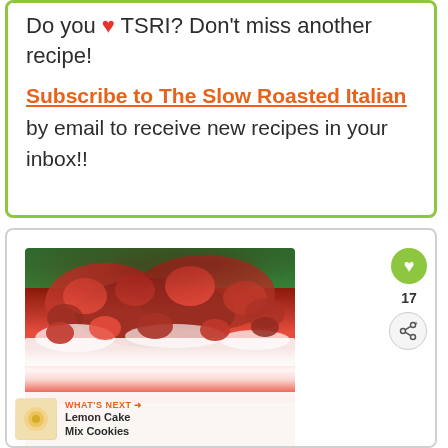Do you ♥ TSRI? Don't miss another recipe!
Subscribe to The Slow Roasted Italian by email to receive new recipes in your inbox!!
[Figure (photo): Close-up photo of a strawberry shortcake or cream cake with sliced strawberries on top and whipped cream filling, with green bokeh background. Overlaid UI elements include a green heart like button, share button, count of 17, and a 'What's Next' banner showing Lemon Cake Mix Cookies.]